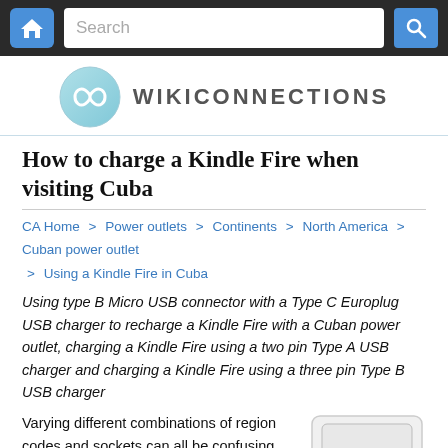WIKICONNECTIONS — navigation bar with home button and search
[Figure (logo): WikiConnections logo: circular teal gradient icon with infinity-like symbol, followed by WIKICONNECTIONS text]
How to charge a Kindle Fire when visiting Cuba
CA Home > Power outlets > Continents > North America > Cuban power outlet > Using a Kindle Fire in Cuba
Using type B Micro USB connector with a Type C Europlug USB charger to recharge a Kindle Fire with a Cuban power outlet, charging a Kindle Fire using a two pin Type A USB charger and charging a Kindle Fire using a three pin Type B USB charger
Varying different combinations of region codes and sockets can all be confusing when planning on staying in a new country if you've never been there before. This page has been specifically written to prevent people needing to worry if they'll be able to power their Kindle Fire
[Figure (photo): Photo of a white European-style power outlet/socket with two round pin holes]